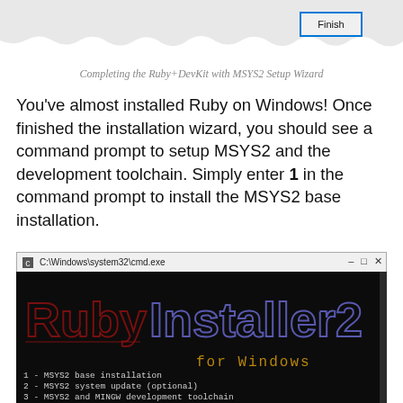[Figure (screenshot): Top portion of Ruby+DevKit with MSYS2 Setup Wizard showing a Finish button on a torn-paper background]
Completing the Ruby+DevKit with MSYS2 Setup Wizard
You've almost installed Ruby on Windows! Once finished the installation wizard, you should see a command prompt to setup MSYS2 and the development toolchain. Simply enter 1 in the command prompt to install the MSYS2 base installation.
[Figure (screenshot): Command prompt window showing RubyInstaller2 for Windows logo with menu: 1 - MSYS2 base installation, 2 - MSYS2 system update (optional), 3 - MSYS2 and MINGW development toolchain. Bottom text: Which components shall be installed? If unsure press ENTER [1,3]]